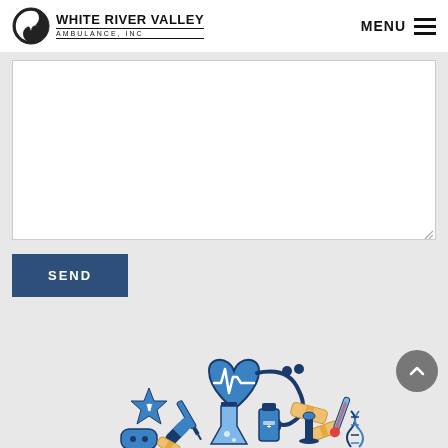WHITE RIVER VALLEY AMBULANCE, INC — MENU
[Figure (screenshot): Textarea input field (empty, with resize handle) on a light gray form background]
SEND
[Figure (illustration): Medical themed illustration with heart rate monitor heart, stethoscope, medical cross, pills, syringes, flasks and other medical equipment icons in blue and navy colors]
TRAINING CENTER INFORMATION